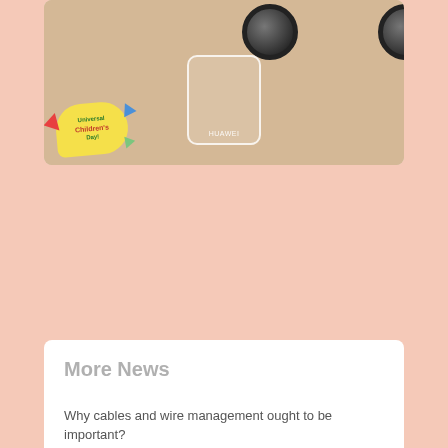[Figure (photo): Product photo on beige/tan background showing car wheels at top and a white square charger/power bank (labeled Huawei) in center, with a Universal Children's Day sticker overlay in bottom left corner]
More News
Why cables and wire management ought to be important?
PMWE Degree certification is Simple with a PMP Test system
What You Must Need To Know About Hair Transplant
Importance of PowerPoint Templates for Your